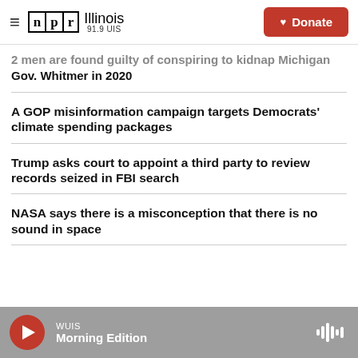NPR Illinois 91.9 UIS — Donate
2 men are found guilty of conspiring to kidnap Michigan Gov. Whitmer in 2020
A GOP misinformation campaign targets Democrats' climate spending packages
Trump asks court to appoint a third party to review records seized in FBI search
NASA says there is a misconception that there is no sound in space
WUIS Morning Edition